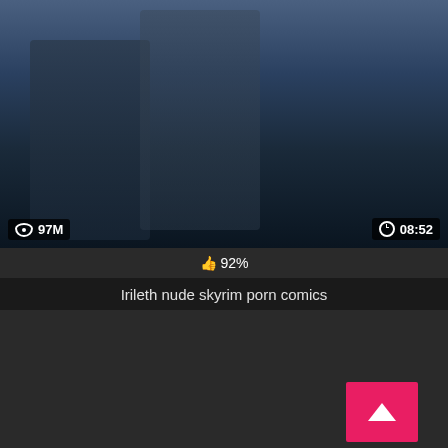[Figure (screenshot): Video thumbnail showing fantasy scene with character in dark armor and boots, blue atmospheric background, view count 97M and duration 08:52 overlaid]
👍 92%
Irileth nude skyrim porn comics
[Figure (screenshot): Second video thumbnail, mostly black/dark content, HD badge in top right, pink scroll-to-top button with arrow]